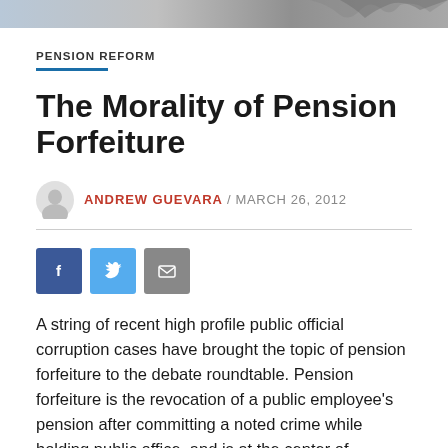[Figure (photo): Cropped top banner image with abstract silhouette figures]
PENSION REFORM
The Morality of Pension Forfeiture
ANDREW GUEVARA / MARCH 26, 2012
[Figure (infographic): Social share buttons: Facebook, Twitter, Email]
A string of recent high profile public official corruption cases have brought the topic of pension forfeiture to the debate roundtable. Pension forfeiture is the revocation of a public employee's pension after committing a noted crime while holding public office, and is at the center of